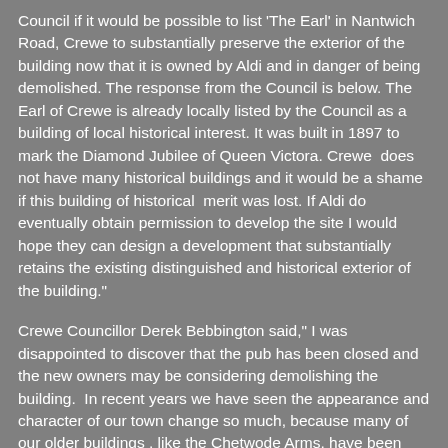Council if it would be possible to list 'The Earl' in Nantwich Road, Crewe to substantially preserve the exterior of the building now that it is owned by Aldi and in danger of being demolished. The response from the Council is below. The Earl of Crewe is already locally listed by the Council as a building of local historical interest. It was built in 1897 to mark the Diamond Jubilee of Queen Victora. Crewe  does not have many historical buildings and it would be a shame if this building of historical  merit was lost. If Aldi do eventually obtain permission to develop the site I would hope they can design a development that substantially retains the existing distinguished and historical exterior of the building."
Crewe Councillor Derek Bebbington said," I was disappointed to discover that the pub has been closed and the new owners may be considering demolishing the building.  In recent years we have seen the appearance and character of our town change so much, because many of our older buildings , like the Chetwode Arms, have been demolished to make way for roads and shopping centres. In more recent years, we have seen many public houses knocked down and replaced with yet more shops and